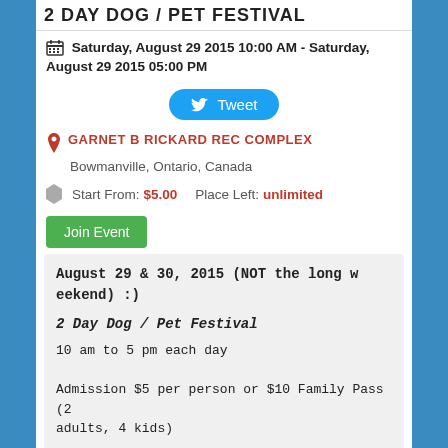2 DAY DOG / PET FESTIVAL
Saturday, August 29 2015 10:00 AM - Saturday, August 29 2015 05:00 PM
[Figure (other): Tweet button]
GARNET B RICKARD REC COMPLEX
Bowmanville, Ontario, Canada
Start From: $5.00   Place Left: unlimited
Join Event
August 29 & 30, 2015 (NOT the long weekend) :)

2 Day Dog / Pet Festival

10 am to 5 pm each day

Admission $5 per person or $10 Family Pass (2 adults, 4 kids)